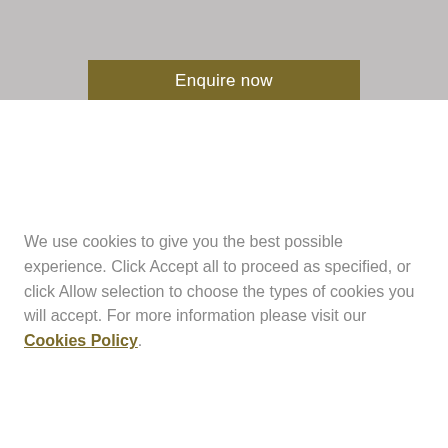[Figure (screenshot): Gray background area at top of page with a dark golden/olive colored 'Enquire now' button partially visible]
We use cookies to give you the best possible experience. Click Accept all to proceed as specified, or click Allow selection to choose the types of cookies you will accept. For more information please visit our Cookies Policy.
Allow selection
Accept all